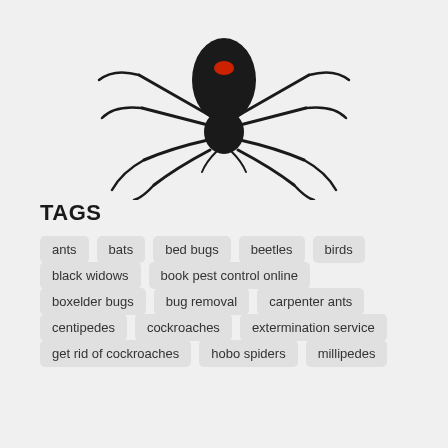[Figure (photo): Black widow spider viewed from above, showing black body with red marking, legs spread out, on white/light background]
TAGS
ants
bats
bed bugs
beetles
birds
black widows
book pest control online
boxelder bugs
bug removal
carpenter ants
centipedes
cockroaches
extermination service
get rid of cockroaches
hobo spiders
millipedes